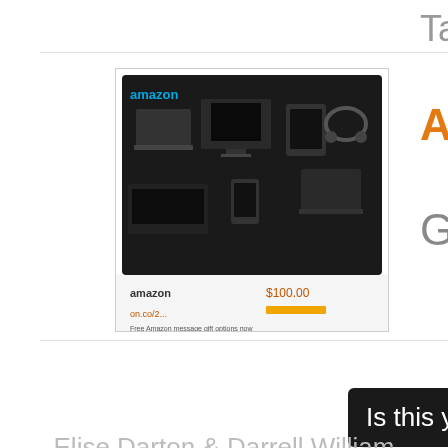Target
[Figure (photo): Amazon gift card product image showing electronics (laptops, tablets, headphones) on dark background with Amazon logo and price]
Amazon Gift
Gift Card
Is this your regis
Elise Darton & Darrell William
Featuring registries fro
Follow us on